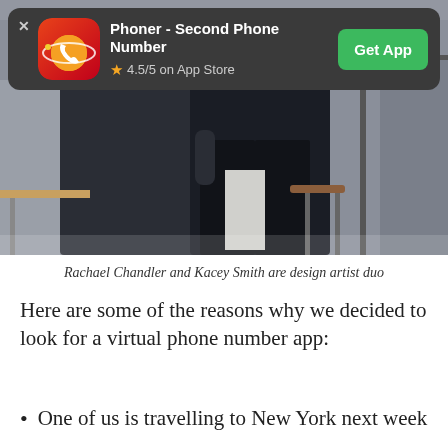[Figure (screenshot): App store banner for 'Phoner - Second Phone Number' with icon, 4.5/5 rating, and Get App button on dark background]
[Figure (photo): Two people in a clothing boutique/studio setting, one wearing a dark blazer viewed from behind]
Rachael Chandler and Kacey Smith are design artist duo
Here are some of the reasons why we decided to look for a virtual phone number app:
One of us is travelling to New York next week